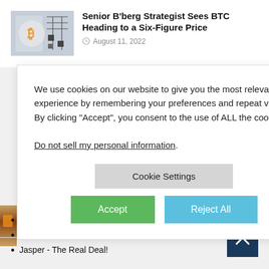[Figure (photo): Thumbnail image showing a hand with Bitcoin/cryptocurrency graphic overlay with circuit patterns]
Senior B'berg Strategist Sees BTC Heading to a Six-Figure Price
August 11, 2022
SEC's Strategy he Realm of
We use cookies on our website to give you the most relevant experience by remembering your preferences and repeat visits. By clicking “Accept”, you consent to the use of ALL the cookies.

Do not sell my personal information.
n? This Analyst
Try Before You Buy
Jasper - The Real Deal!